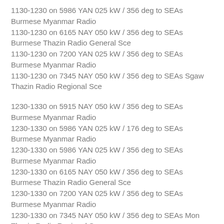1130-1230 on  5986 YAN 025 kW / 356 deg to SEAs Burmese Myanmar Radio
1130-1230 on  6165 NAY 050 kW / 356 deg to SEAs Burmese Thazin Radio General Sce
1130-1230 on  7200 YAN 025 kW / 356 deg to SEAs Burmese Myanmar Radio
1130-1230 on  7345 NAY 050 kW / 356 deg to SEAs Sgaw Thazin Radio Regional Sce
1230-1330 on  5915 NAY 050 kW / 356 deg to SEAs Burmese Myanmar Radio
1230-1330 on  5986 YAN 025 kW / 176 deg to SEAs Burmese Myanmar Radio
1230-1330 on  5986 YAN 025 kW / 356 deg to SEAs Burmese Myanmar Radio
1230-1330 on  6165 NAY 050 kW / 356 deg to SEAs Burmese Thazin Radio General Sce
1230-1330 on  7200 YAN 025 kW / 356 deg to SEAs Burmese Myanmar Radio
1230-1330 on  7345 NAY 050 kW / 356 deg to SEAs Mon Thazin Radio Regional Sce